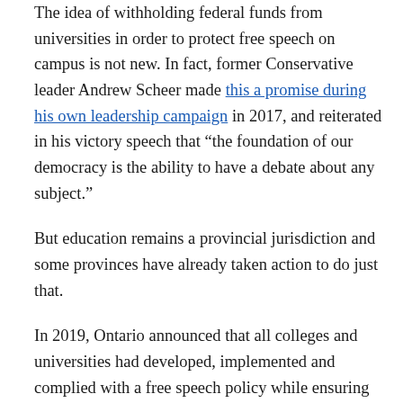The idea of withholding federal funds from universities in order to protect free speech on campus is not new. In fact, former Conservative leader Andrew Scheer made this a promise during his own leadership campaign in 2017, and reiterated in his victory speech that “the foundation of our democracy is the ability to have a debate about any subject.”
But education remains a provincial jurisdiction and some provinces have already taken action to do just that.
In 2019, Ontario announced that all colleges and universities had developed, implemented and complied with a free speech policy while ensuring that hate speech and discrimination are not allowed on campus. Alberta also